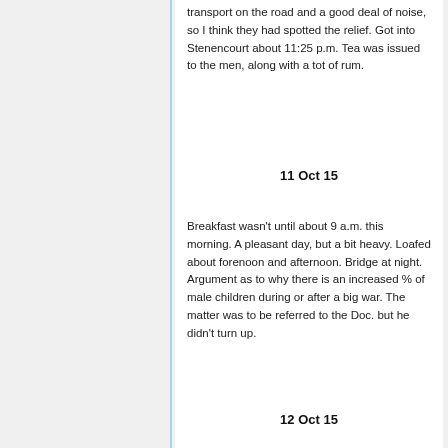transport on the road and a good deal of noise, so I think they had spotted the relief. Got into Stenencourt about 11:25 p.m. Tea was issued to the men, along with a tot of rum.
11 Oct 15
Breakfast wasn't until about 9 a.m. this morning. A pleasant day, but a bit heavy. Loafed about forenoon and afternoon. Bridge at night. Argument as to why there is an increased % of male children during or after a big war. The matter was to be referred to the Doc. but he didn't turn up.
12 Oct 15